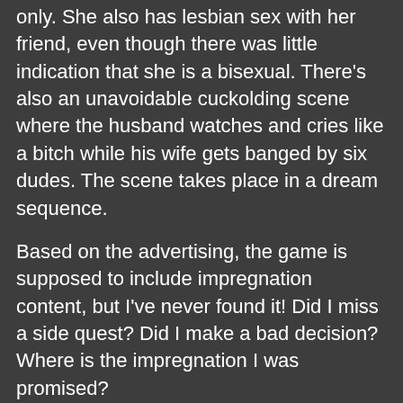She might become the main goddess for the scene only. She also has lesbian sex with her friend, even though there was little indication that she is a bisexual. There's also an unavoidable cuckolding scene where the husband watches and cries like a bitch while his wife gets banged by six dudes. The scene takes place in a dream sequence.
Based on the advertising, the game is supposed to include impregnation content, but I've never found it! Did I miss a side quest? Did I make a bad decision? Where is the impregnation I was promised?
The game has no recollection room as of time of writing, which makes it difficult to revisit old scenes. This feature might be added in the future. Join the funding campaign if you want to influence development.